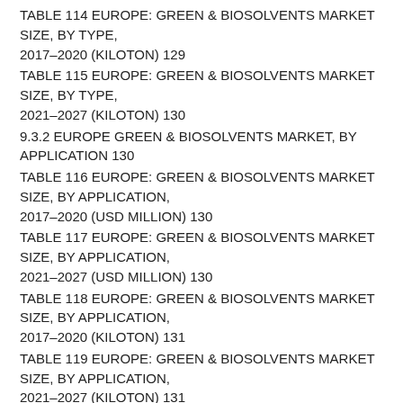TABLE 114 EUROPE: GREEN & BIOSOLVENTS MARKET SIZE, BY TYPE, 2017–2020 (KILOTON) 129
TABLE 115 EUROPE: GREEN & BIOSOLVENTS MARKET SIZE, BY TYPE, 2021–2027 (KILOTON) 130
9.3.2 EUROPE GREEN & BIOSOLVENTS MARKET, BY APPLICATION 130
TABLE 116 EUROPE: GREEN & BIOSOLVENTS MARKET SIZE, BY APPLICATION, 2017–2020 (USD MILLION) 130
TABLE 117 EUROPE: GREEN & BIOSOLVENTS MARKET SIZE, BY APPLICATION, 2021–2027 (USD MILLION) 130
TABLE 118 EUROPE: GREEN & BIOSOLVENTS MARKET SIZE, BY APPLICATION, 2017–2020 (KILOTON) 131
TABLE 119 EUROPE: GREEN & BIOSOLVENTS MARKET SIZE, BY APPLICATION, 2021–2027 (KILOTON) 131
9.3.3 EUROPE GREEN & BIOSOLVENTS MARKET, BY